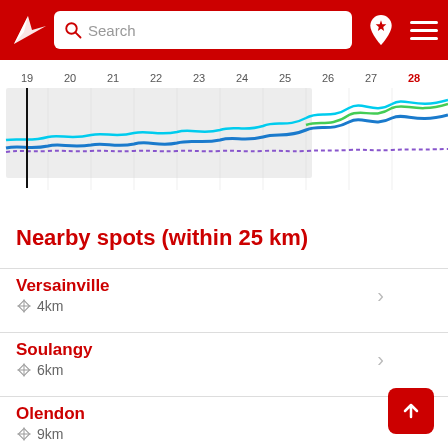[Figure (screenshot): Red navigation bar with white logo (arrow/compass), search box labeled 'Search', map pin icon with star, and hamburger menu icon]
[Figure (line-chart): Multi-line time series chart showing wave/surf forecast data across dates 19-28, with colored lines (blue, cyan, green, purple) near the bottom of the chart area. A vertical black line and grey shaded selection region are visible.]
Nearby spots (within 25 km)
Versainville
4km
Soulangy
6km
Olendon
9km